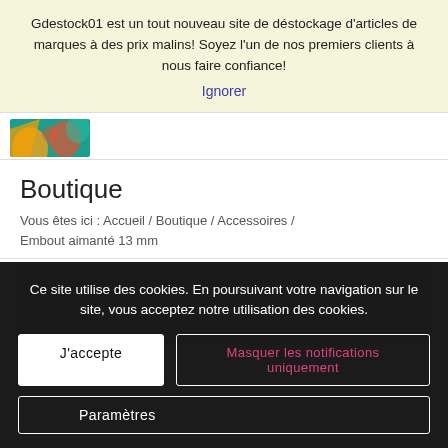Gdestock01 est un tout nouveau site de déstockage d'articles de marques à des prix malins! Soyez l'un de nos premiers clients à nous faire confiance!
Ignorer
[Figure (illustration): Colorful graphic with tropical/floral patterns in teal, orange, and blue]
Boutique
Vous êtes ici :  Accueil  /  Boutique  /  Accessoires  /  Embout aimanté 13 mm
[Figure (photo): Product photo with light grey/marble background, partially visible]
Ce site utilise des cookies. En poursuivant votre navigation sur le site, vous acceptez notre utilisation des cookies.
J'accepte
Masquer les notifications uniquement
Paramètres